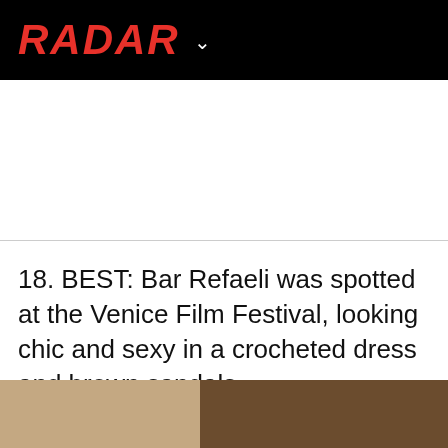RADAR
18. BEST: Bar Refaeli was spotted at the Venice Film Festival, looking chic and sexy in a crocheted dress and brown sandals.
[Figure (photo): Partial photo strip at the bottom showing what appears to be two images of Bar Refaeli at Venice Film Festival]